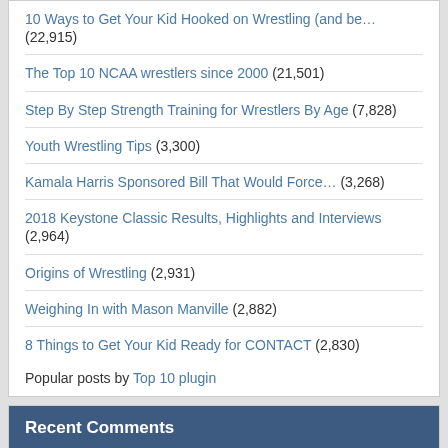10 Ways to Get Your Kid Hooked on Wrestling (and be… (22,915)
The Top 10 NCAA wrestlers since 2000 (21,501)
Step By Step Strength Training for Wrestlers By Age (7,828)
Youth Wrestling Tips (3,300)
Kamala Harris Sponsored Bill That Would Force… (3,268)
2018 Keystone Classic Results, Highlights and Interviews (2,964)
Origins of Wrestling (2,931)
Weighing In with Mason Manville (2,882)
8 Things to Get Your Kid Ready for CONTACT (2,830)
Popular posts by Top 10 plugin
Recent Comments
truewrestling on Kamala Harris Sponsored Bill That Would Force Schools To Let Male Athletes Compete In Girls' Sports
David on Kamala Harris Sponsored Bill That Would Force Schools To